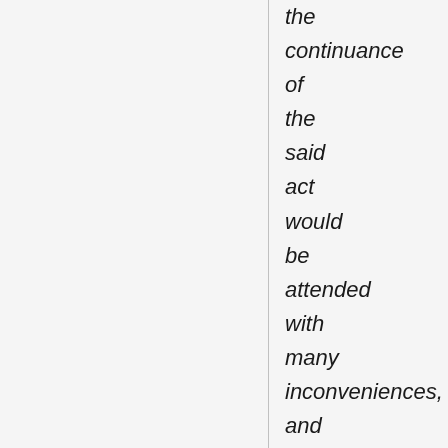the continuance of the said act would be attended with many inconveniences, and may be